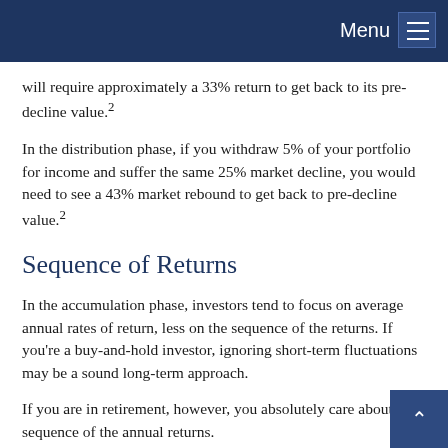Menu
will require approximately a 33% return to get back to its pre-decline value.²
In the distribution phase, if you withdraw 5% of your portfolio for income and suffer the same 25% market decline, you would need to see a 43% market rebound to get back to pre-decline value.²
Sequence of Returns
In the accumulation phase, investors tend to focus on average annual rates of return, less on the sequence of the returns. If you're a buy-and-hold investor, ignoring short-term fluctuations may be a sound long-term approach.
If you are in retirement, however, you absolutely care about the sequence of the annual returns.